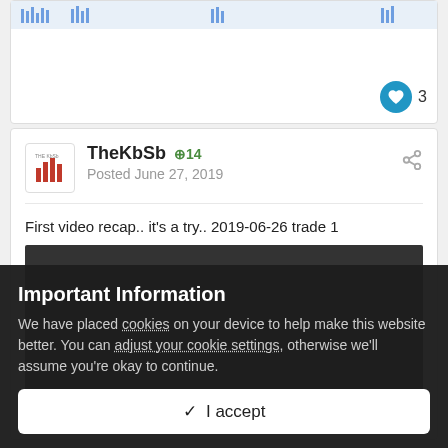[Figure (screenshot): Partial view of a financial chart strip at the top, cropped]
3
TheKbSb +14 Posted June 27, 2019
First video recap.. it's a try.. 2019-06-26 trade 1
[Figure (other): Embedded dark video player area]
Important Information
We have placed cookies on your device to help make this website better. You can adjust your cookie settings, otherwise we'll assume you're okay to continue.
✓  I accept